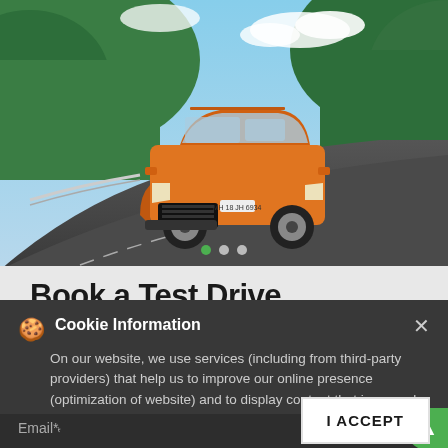[Figure (photo): Orange Skoda Kushaq SUV driving on a curving mountain road with green hillside and blue sky in the background. The car is shown in a front three-quarter view with the license plate MH 18 JH 6934.]
Book a Test Drive
Cookie Information
On our website, we use services (including from third-party providers) that help us to improve our online presence (optimization of website) and to display content that is geared to their interests. We need your consent before being able to use these services.
Name*
Email*
I ACCEPT